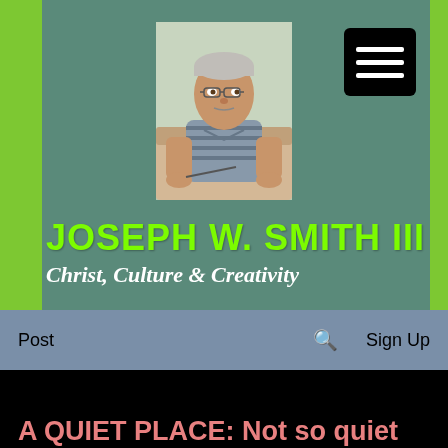[Figure (photo): Profile photo of Joseph W. Smith III, an older man in a striped polo shirt, sitting in a chair]
JOSEPH W. SMITH III
Christ, Culture & Creativity
Post  🔍  Sign Up
changsmith2 👑
Aug 1, 2018 · 2 min
A QUIET PLACE: Not so quiet after all